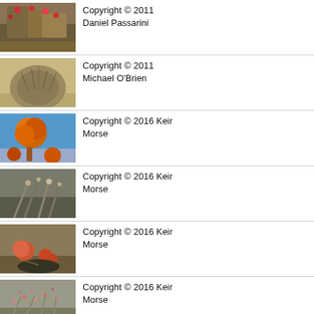[Figure (photo): Plant with reddish flowers and branches]
Copyright © 2011 Daniel Passarini
[Figure (photo): Round bush plant in sandy ground]
Copyright © 2011 Michael O'Brien
[Figure (photo): Orange flower cluster on blue sky background]
Copyright © 2016 Keir Morse
[Figure (photo): Close-up of plant leaves and buds]
Copyright © 2016 Keir Morse
[Figure (photo): Orange-red flower buds on plant]
Copyright © 2016 Keir Morse
[Figure (photo): Plant with small reddish-pink flowers]
Copyright © 2016 Keir Morse